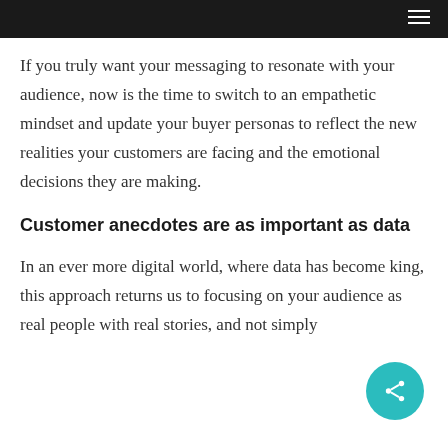If you truly want your messaging to resonate with your audience, now is the time to switch to an empathetic mindset and update your buyer personas to reflect the new realities your customers are facing and the emotional decisions they are making.
Customer anecdotes are as important as data
In an ever more digital world, where data has become king, this approach returns us to focusing on your audience as real people with real stories, and not simply